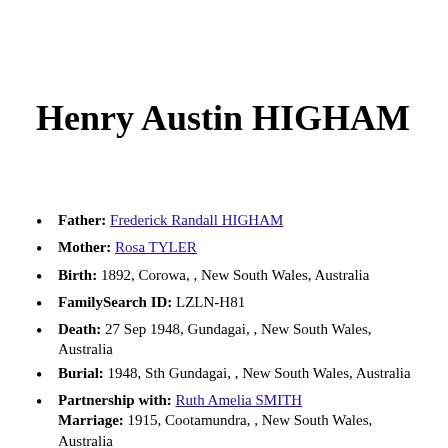Henry Austin HIGHAM
Father: Frederick Randall HIGHAM
Mother: Rosa TYLER
Birth: 1892, Corowa, , New South Wales, Australia
FamilySearch ID: LZLN-H81
Death: 27 Sep 1948, Gundagai, , New South Wales, Australia
Burial: 1948, Sth Gundagai, , New South Wales, Australia
Partnership with: Ruth Amelia SMITH Marriage: 1915, Cootamundra, , New South Wales, Australia